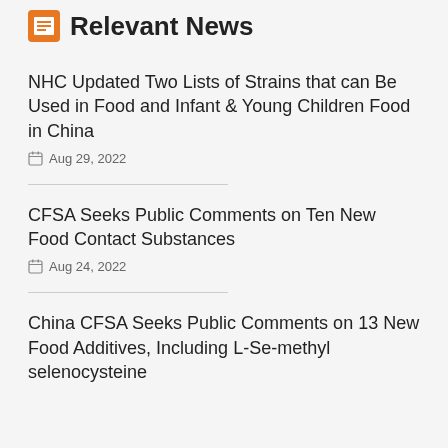Relevant News
NHC Updated Two Lists of Strains that can Be Used in Food and Infant & Young Children Food in China
Aug 29, 2022
CFSA Seeks Public Comments on Ten New Food Contact Substances
Aug 24, 2022
China CFSA Seeks Public Comments on 13 New Food Additives, Including L-Se-methyl selenocysteine